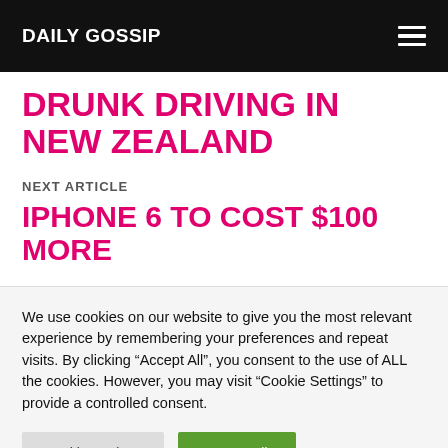DAILY GOSSIP
DRUNK DRIVING IN NEW ZEALAND
NEXT ARTICLE
IPHONE 6 TO COST $100 MORE
We use cookies on our website to give you the most relevant experience by remembering your preferences and repeat visits. By clicking “Accept All”, you consent to the use of ALL the cookies. However, you may visit "Cookie Settings" to provide a controlled consent.